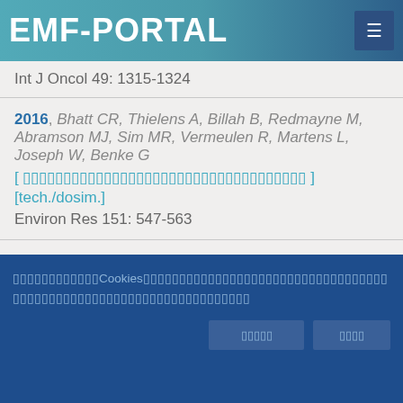EMF-PORTAL
Int J Oncol 49: 1315-1324
2016, Bhatt CR, Thielens A, Billah B, Redmayne M, Abramson MJ, Sim MR, Vermeulen R, Martens L, Joseph W, Benke G
[link]
[tech./dosim.]
Environ Res 151: 547-563
2016, Bormpantonakis PM, Stratakis DI, Mastorakis GN, Skeberis CN, Mavromoustakis CX, Bechet PV
[Cookie consent banner text in Japanese/Asian characters] Cookies [more text]
[more text in Asian characters]